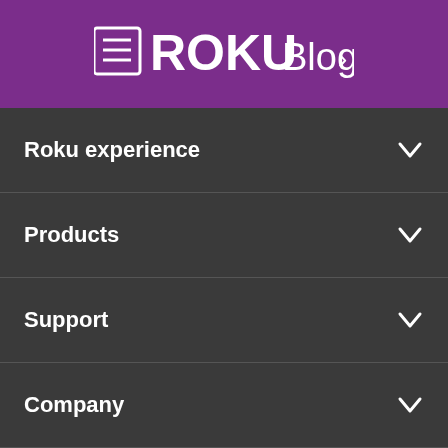[Figure (logo): Roku Blog logo on purple header bar]
Roku experience
Products
Support
Company
Partners
[Figure (logo): Roku logo on purple background in footer area]